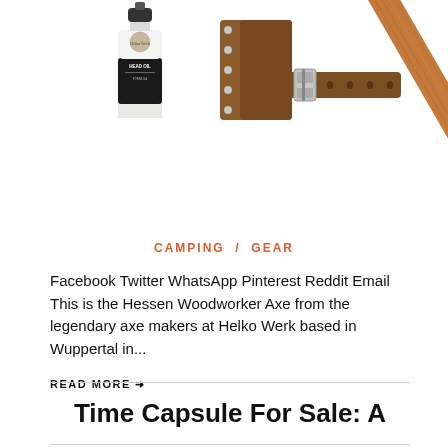[Figure (photo): Product photo showing a small bottle of Helko Werk Head Oil on the left, a brown leather axe mask/sheath with metal buckle in the center, and a curved wooden axe handle on the right, all on a white background.]
CAMPING / GEAR
Facebook Twitter WhatsApp Pinterest Reddit Email This is the Hessen Woodworker Axe from the legendary axe makers at Helko Werk based in Wuppertal in...
READ MORE →
Time Capsule For Sale: A